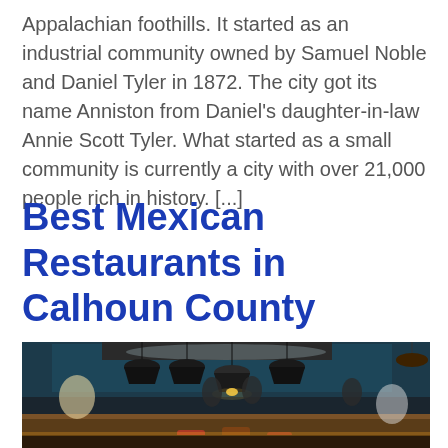Appalachian foothills. It started as an industrial community owned by Samuel Noble and Daniel Tyler in 1872. The city got its name Anniston from Daniel's daughter-in-law Annie Scott Tyler. What started as a small community is currently a city with over 21,000 people rich in history. [...]
Best Mexican Restaurants in Calhoun County
[Figure (photo): Interior of a restaurant/bar with dark industrial decor, pendant lights hanging from the ceiling, a bar counter in the foreground with stools, people working and sitting in the background, blue-tinted lighting in the background area]